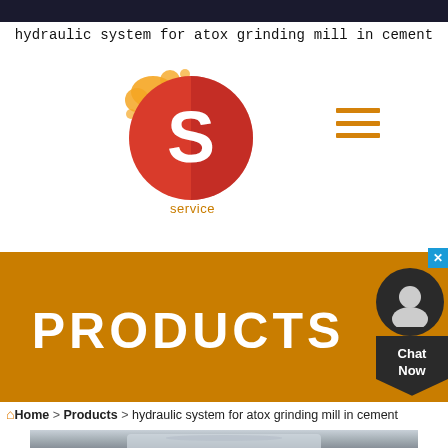hydraulic system for atox grinding mill in cement
[Figure (logo): Circular red/orange logo with white letter S and orange cloud-like splash, labeled 'service' underneath]
[Figure (other): Hamburger menu icon (three horizontal orange lines) in top right area]
[Figure (other): Chat Now widget with close X button, dark circular head icon, and dark pentagon Chat Now label]
PRODUCTS
Home > Products > hydraulic system for atox grinding mill in cement
[Figure (photo): Industrial grinding mill machinery photographed inside a factory/warehouse, with Chinese text banner visible in background]